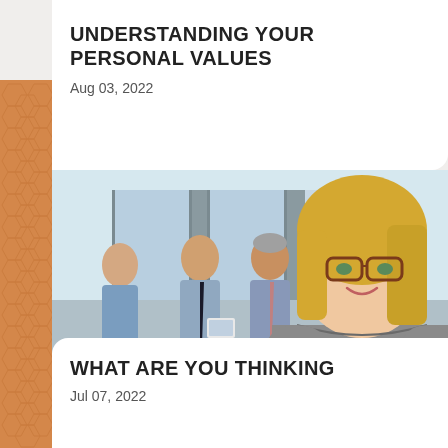UNDERSTANDING YOUR PERSONAL VALUES
Aug 03, 2022
[Figure (photo): A blonde woman with glasses wearing a grey top smiles at the camera in the foreground. In the background, three business colleagues stand and talk in a modern office lobby — two men and a woman, looking at a tablet.]
WHAT ARE YOU THINKING
Jul 07, 2022